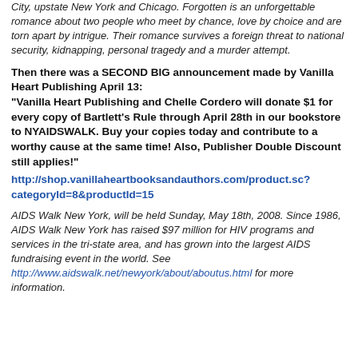City, upstate New York and Chicago. Forgotten is an unforgettable romance about two people who meet by chance, love by choice and are torn apart by intrigue. Their romance survives a foreign threat to national security, kidnapping, personal tragedy and a murder attempt.
Then there was a SECOND BIG announcement made by Vanilla Heart Publishing April 13: "Vanilla Heart Publishing and Chelle Cordero will donate $1 for every copy of Bartlett's Rule through April 28th in our bookstore to NYAIDSWALK. Buy your copies today and contribute to a worthy cause at the same time! Also, Publisher Double Discount still applies!"
http://shop.vanillaheartbooksandauthors.com/product.sc?categoryId=8&productId=15
AIDS Walk New York, will be held Sunday, May 18th, 2008. Since 1986, AIDS Walk New York has raised $97 million for HIV programs and services in the tri-state area, and has grown into the largest AIDS fundraising event in the world. See http://www.aidswalk.net/newyork/about/aboutus.html for more information.